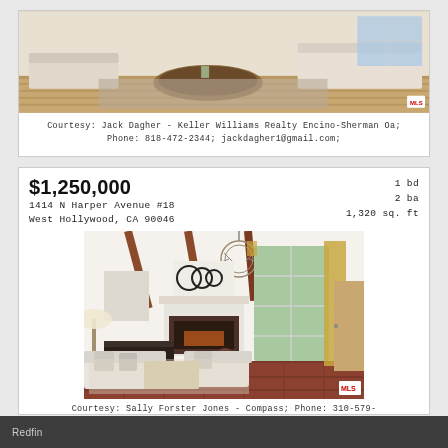[Figure (photo): Interior living room photo showing light wood floors, sofa, coffee table, and open space]
Courtesy: Jack Dagher - Keller Williams Realty Encino-Sherman Oa; Phone: 818-472-2344; jackdagher1@gmail.com;
$1,250,000
1414 N Harper Avenue #18
West Hollywood, CA 90046
1 bd
2 ba
1,320 sq. ft
[Figure (photo): Interior living room of luxury condo with high vaulted ceilings, exposed wooden beams, chandelier, fireplace, large window with gold curtains, and white sofas on terracotta tile floor]
Courtesy: Sally Forster Jones - Compass; Phone: 310-579-
Redfin